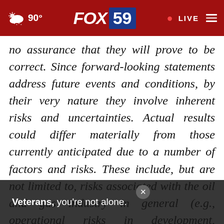90° FOX 59 · LIVE
no assurance that they will prove to be correct. Since forward-looking statements address future events and conditions, by their very nature they involve inherent risks and uncertainties. Actual results could differ materially from those currently anticipated due to a number of factors and risks. These include, but are not limited to, risks associated with the oil and gas industry in general (e.g., operational risks in development, exploration, production and changes in plans ment
[Figure (screenshot): Advertisement overlay banner reading 'Veterans, you're not alone.' with a close (×) button, overlaid on the bottom portion of the page showing a person sitting at a table.]